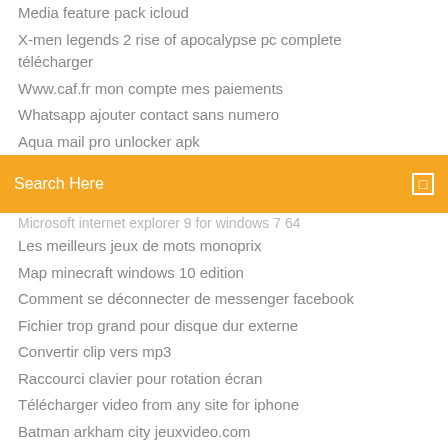Media feature pack icloud
X-men legends 2 rise of apocalypse pc complete télécharger
Www.caf.fr mon compte mes paiements
Whatsapp ajouter contact sans numero
Aqua mail pro unlocker apk
[Figure (screenshot): Orange search bar with 'Search Here' placeholder text and a search icon on the right]
Microsoft internet explorer 9 for windows 7 64
Les meilleurs jeux de mots monoprix
Map minecraft windows 10 edition
Comment se déconnecter de messenger facebook
Fichier trop grand pour disque dur externe
Convertir clip vers mp3
Raccourci clavier pour rotation écran
Télécharger video from any site for iphone
Batman arkham city jeuxvideo.com
Nexus mod manager gratuit télécharger fallout 4
Ios 10 iphone 4s jailbreak